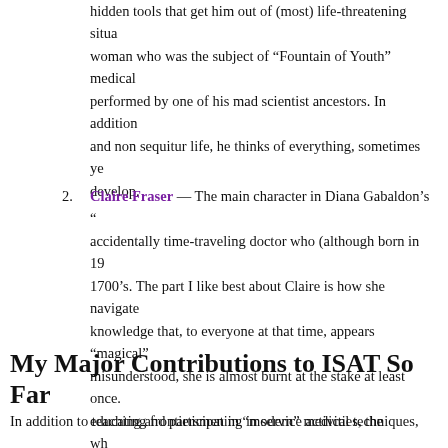hidden tools that get him out of (most) life-threatening situations, and a woman who was the subject of "Fountain of Youth" medical experiments performed by one of his mad scientist ancestors. In addition to his zany and non sequitur life, he thinks of everything, sometimes years before we develop.
2. Claire Fraser — The main character in Diana Gabaldon's series, an accidentally time-traveling doctor who (although born in 1900's) lives in 1700's. The part I like best about Claire is how she navigates medical knowledge that, to everyone at that time, appears "magical" and easily misunderstood, she is almost burnt at the stake at least once. As well as educating frontiersmen in "modern" medical techniques, wh... her kitchen. (Plus, she is involved in a romance that spans a... exciting.) It's a great speculative study in social context.
My Major Contributions to ISAT So Far
In addition to teaching and participating in service activities, the...